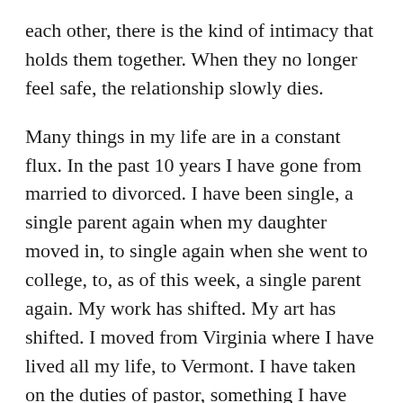each other, there is the kind of intimacy that holds them together. When they no longer feel safe, the relationship slowly dies.
Many things in my life are in a constant flux. In the past 10 years I have gone from married to divorced. I have been single, a single parent again when my daughter moved in, to single again when she went to college, to, as of this week, a single parent again. My work has shifted. My art has shifted. I moved from Virginia where I have lived all my life, to Vermont. I have taken on the duties of pastor, something I have always fled, feeling not worthy and temperamentally